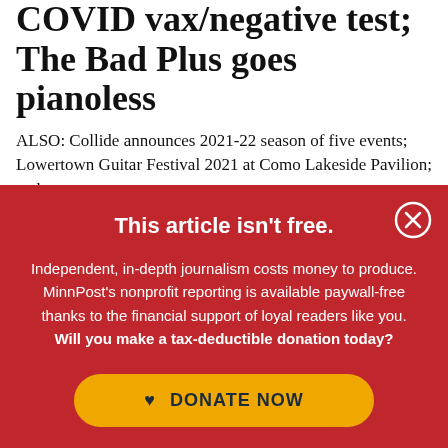COVID vax/negative test; The Bad Plus goes pianoless
ALSO: Collide announces 2021-22 season of five events; Lowertown Guitar Festival 2021 at Como Lakeside Pavilion; and more.
By Pamela Espeland | Columnist
This article isn't free.
Independent, in-depth journalism costs money to produce. MinnPost's nonprofit reporting is available paywall-free thanks to the financial support of loyal readers like you. Will you make a tax-deductible donation today?
DONATE NOW